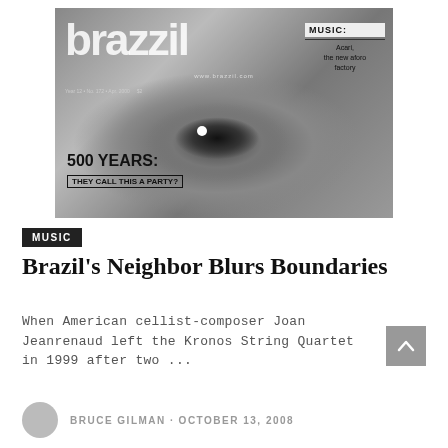[Figure (photo): Black and white magazine cover of Brazzil magazine showing a close-up of a human eye. The logo 'brazzil' appears in large white letters. Text reads 'MUSIC: Acari, the new aforo factory' and '500 YEARS: THEY CALL THIS A PARTY?']
MUSIC
Brazil's Neighbor Blurs Boundaries
When American cellist-composer Joan Jeanrenaud left the Kronos String Quartet in 1999 after two ...
BRUCE GILMAN · OCTOBER 13, 2008